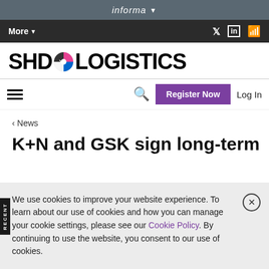informa
More  Twitter LinkedIn RSS
[Figure (logo): SHD Logistics logo with colored circular icon between 'SHD' and 'LOGISTICS']
Register Now  Log In
< News
K+N and GSK sign long-term
We use cookies to improve your website experience. To learn about our use of cookies and how you can manage your cookie settings, please see our Cookie Policy. By continuing to use the website, you consent to our use of cookies.